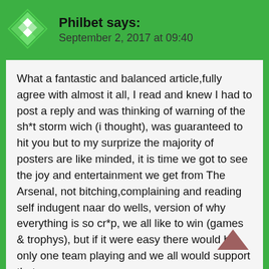[Figure (logo): Green diamond pattern logo for Philbet]
Philbet says:
September 2, 2017 at 09:40
What a fantastic and balanced article,fully agree with almost it all, I read and knew I had to post a reply and was thinking of warning of the sh*t storm wich (i thought), was guaranteed to hit you but to my surprize the majority of posters are like minded, it is time we got to see the joy and entertainment we get from The Arsenal, not bitching,complaining and reading self indugent naar do wells, version of why everything is so cr*p, we all like to win (games & trophys), but if it were easy there would be only one team playing and we all would support that